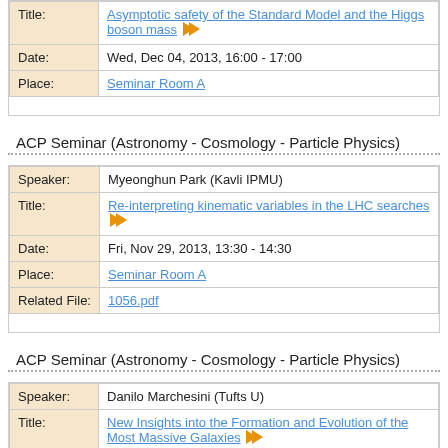| Field | Value |
| --- | --- |
| Title: | Asymptotic safety of the Standard Model and the Higgs boson mass |
| Date: | Wed, Dec 04, 2013, 16:00 - 17:00 |
| Place: | Seminar Room A |
ACP Seminar (Astronomy - Cosmology - Particle Physics)
| Field | Value |
| --- | --- |
| Speaker: | Myeonghun Park (Kavli IPMU) |
| Title: | Re-interpreting kinematic variables in the LHC searches |
| Date: | Fri, Nov 29, 2013, 13:30 - 14:30 |
| Place: | Seminar Room A |
| Related File: | 1056.pdf |
ACP Seminar (Astronomy - Cosmology - Particle Physics)
| Field | Value |
| --- | --- |
| Speaker: | Danilo Marchesini (Tufts U) |
| Title: | New Insights into the Formation and Evolution of the Most Massive Galaxies |